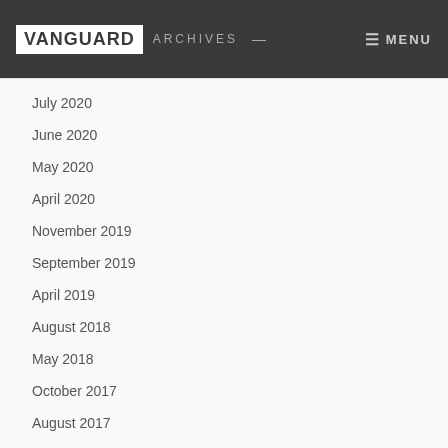VANGUARD ARCHIVES — MENU
July 2020
June 2020
May 2020
April 2020
November 2019
September 2019
April 2019
August 2018
May 2018
October 2017
August 2017
July 2017
June 2017